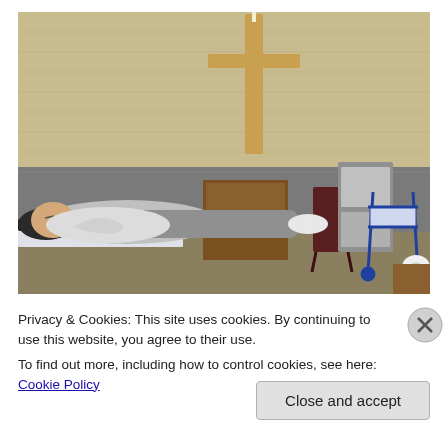[Figure (photo): An elderly man lying on a cot/bed in a sparse institutional room with cinder block walls. A large wooden cross hangs on the back wall. A walker, a chair, and a small equipment stand are visible in the background. The room appears to be a prison or correctional facility's infirmary or chapel area.]
Privacy & Cookies: This site uses cookies. By continuing to use this website, you agree to their use.
To find out more, including how to control cookies, see here: Cookie Policy